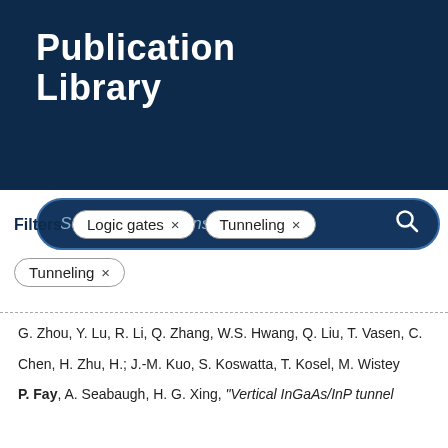Publication Library
Search Publications
Filters  Logic gates ×  Tunneling ×  Tunneling ×
| Citation | Research Areas | Publication Date |
| --- | --- | --- |
| G. Zhou, Y. Lu, R. Li, Q. Zhang, W.S. Hwang, Q. Liu, T. Vasen, C. Chen, H. Zhu, H.; J.-M. Kuo, S. Koswatta, T. Kosel, M. Wistey |  |  |
| P. Fay, A. Seabaugh, H. G. Xing, "Vertical InGaAs/InP tunnel |  |  |